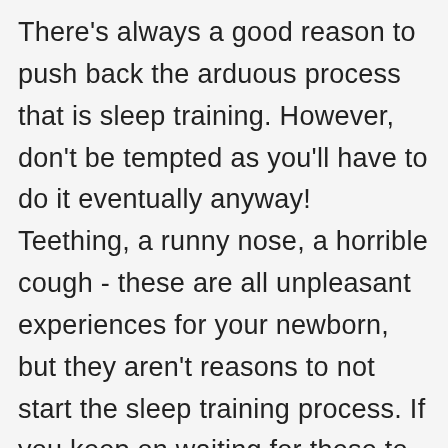There's always a good reason to push back the arduous process that is sleep training. However, don't be tempted as you'll have to do it eventually anyway! Teething, a runny nose, a horrible cough - these are all unpleasant experiences for your newborn, but they aren't reasons to not start the sleep training process. If you keep on waiting for these to subside then you'll likely be waiting for their entire infancy!